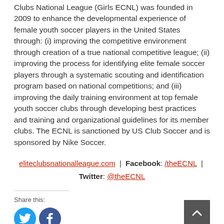Clubs National League (Girls ECNL) was founded in 2009 to enhance the developmental experience of female youth soccer players in the United States through: (i) improving the competitive environment through creation of a true national competitive league; (ii) improving the process for identifying elite female soccer players through a systematic scouting and identification program based on national competitions; and (iii) improving the daily training environment at top female youth soccer clubs through developing best practices and training and organizational guidelines for its member clubs. The ECNL is sanctioned by US Club Soccer and is sponsored by Nike Soccer.
eliteclubsnationalleague.com | Facebook: /theECNL | Twitter: @theECNL
Share this: